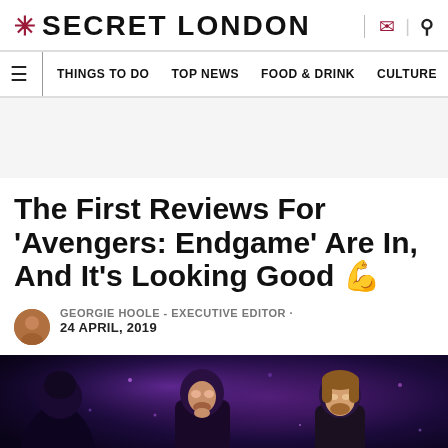* SECRET LONDON
THINGS TO DO  TOP NEWS  FOOD & DRINK  CULTURE
The First Reviews For ‘Avengers: Endgame’ Are In, And It’s Looking Good 💪
GEORGIE HOOLE - EXECUTIVE EDITOR · 24 APRIL, 2019
[Figure (photo): Movie poster / promotional image for Avengers: Endgame showing two Marvel superhero characters (Iron Man and Thor) against a purple/blue cosmic background.]